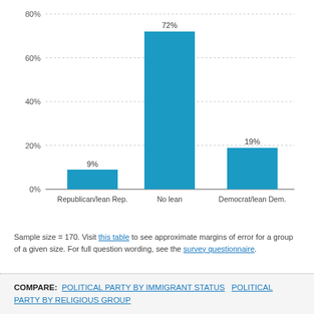[Figure (bar-chart): ]
Sample size = 170. Visit this table to see approximate margins of error for a group of a given size. For full question wording, see the survey questionnaire.
COMPARE: POLITICAL PARTY BY IMMIGRANT STATUS   POLITICAL PARTY BY RELIGIOUS GROUP